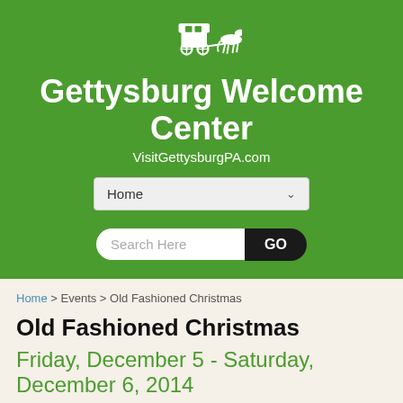[Figure (logo): White silhouette of a horse-drawn carriage on green background]
Gettysburg Welcome Center
VisitGettysburgPA.com
[Figure (screenshot): Navigation dropdown showing 'Home' with chevron]
[Figure (screenshot): Search bar with 'Search Here' placeholder and GO button]
Home > Events > Old Fashioned Christmas
Old Fashioned Christmas
Friday, December 5 - Saturday, December 6, 2014